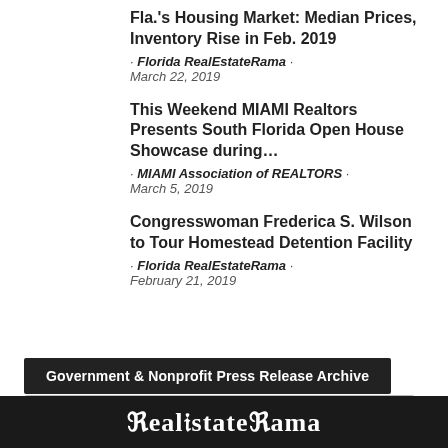Fla.'s Housing Market: Median Prices, Inventory Rise in Feb. 2019
· Florida RealEstateRama · March 22, 2019
This Weekend MIAMI Realtors Presents South Florida Open House Showcase during…
· MIAMI Association of REALTORS · March 5, 2019
Congresswoman Frederica S. Wilson to Tour Homestead Detention Facility
· Florida RealEstateRama · February 21, 2019
Government & Nonprofit Press Release Archive
Select Month
RealEstateRama